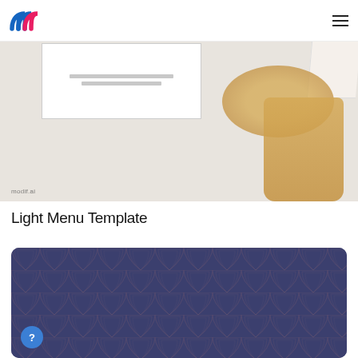modif.ai logo and navigation
[Figure (photo): A glass jar spilling granola/oats on a light background with a white card mockup showing placeholder text. 'modif.ai' watermark in bottom-left.]
Light Menu Template
[Figure (photo): Dark navy blue card with art deco repeating pattern, showing the bottom portion of a template design.]